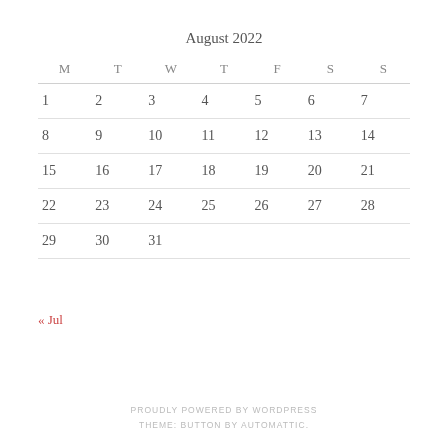August 2022
| M | T | W | T | F | S | S |
| --- | --- | --- | --- | --- | --- | --- |
| 1 | 2 | 3 | 4 | 5 | 6 | 7 |
| 8 | 9 | 10 | 11 | 12 | 13 | 14 |
| 15 | 16 | 17 | 18 | 19 | 20 | 21 |
| 22 | 23 | 24 | 25 | 26 | 27 | 28 |
| 29 | 30 | 31 |  |  |  |  |
« Jul
PROUDLY POWERED BY WORDPRESS
THEME: BUTTON BY AUTOMATTIC.